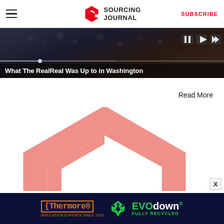Sourcing Journal — SUBSCRIBE
[Figure (screenshot): Video thumbnail showing dark background with fabric/textile imagery and playback controls]
What The RealReal Was Up to in Washington
Read More
[Figure (logo): Large Sourcing Journal logo icon (pink/salmon hexagonal S-shape) partially cropped]
[Figure (other): Advertisement banner: Thermore Insulation Experts Since 1972 — EVO down FULLY RECYCLED, dark navy background with green neon text]